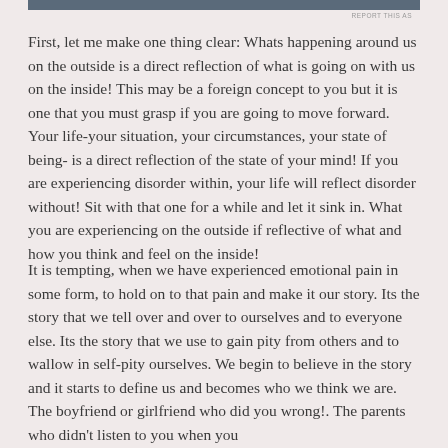REPORT THIS AS
First, let me make one thing clear: Whats happening around us on the outside is a direct reflection of what is going on with us on the inside! This may be a foreign concept to you but it is one that you must grasp if you are going to move forward. Your life-your situation, your circumstances, your state of being- is a direct reflection of the state of your mind! If you are experiencing disorder within, your life will reflect disorder without! Sit with that one for a while and let it sink in. What you are experiencing on the outside if reflective of what and how you think and feel on the inside!
It is tempting, when we have experienced emotional pain in some form, to hold on to that pain and make it our story. Its the story that we tell over and over to ourselves and to everyone else. Its the story that we use to gain pity from others and to wallow in self-pity ourselves. We begin to believe in the story and it starts to define us and becomes who we think we are. The boyfriend or girlfriend who did you wrong!. The parents who didn't listen to you when you